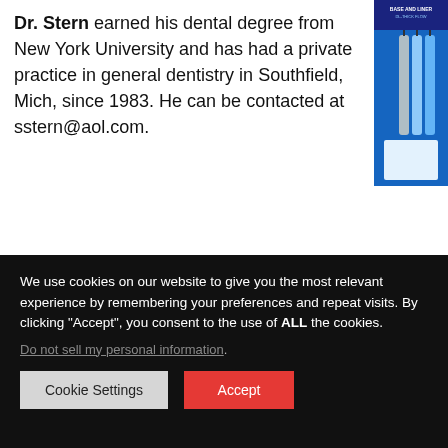Dr. Stern earned his dental degree from New York University and has had a private practice in general dentistry in Southfield, Mich, since 1983. He can be contacted at sstern@aol.com.
[Figure (illustration): Product advertisement image in top right corner showing dental product packaging with blue and white colors]
[Figure (logo): Glidewell Symposium 2022 banner with tooth graphic made of colorful dots on dark and red diagonal background]
We use cookies on our website to give you the most relevant experience by remembering your preferences and repeat visits. By clicking "Accept", you consent to the use of ALL the cookies.
Do not sell my personal information.
Cookie Settings  Accept